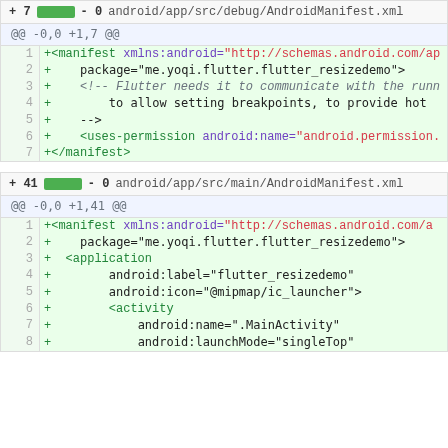+ 7  [green bar]  - 0   android/app/src/debug/AndroidManifest.xml
[Figure (screenshot): Git diff of android/app/src/debug/AndroidManifest.xml showing 7 added lines]
+ 41  [green bar]  - 0   android/app/src/main/AndroidManifest.xml
[Figure (screenshot): Git diff of android/app/src/main/AndroidManifest.xml showing 41 added lines, first 8 lines shown]